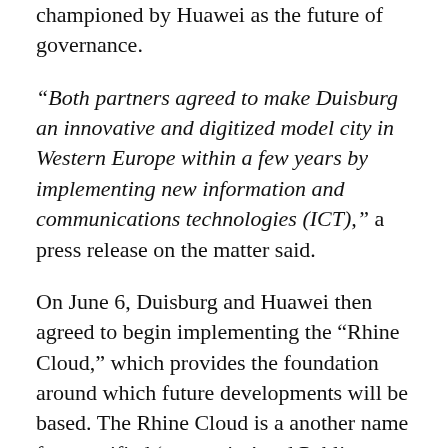championed by Huawei as the future of governance.
“Both partners agreed to make Duisburg an innovative and digitized model city in Western Europe within a few years by implementing new information and communications technologies (ICT),” a press release on the matter said.
On June 6, Duisburg and Huawei then agreed to begin implementing the “Rhine Cloud,” which provides the foundation around which future developments will be based. The Rhine Cloud is a another name for a unified ‘smart city’ and Public Services Cloud Platform, which unifies otherwise disparate forms of city maintenance and governance into a